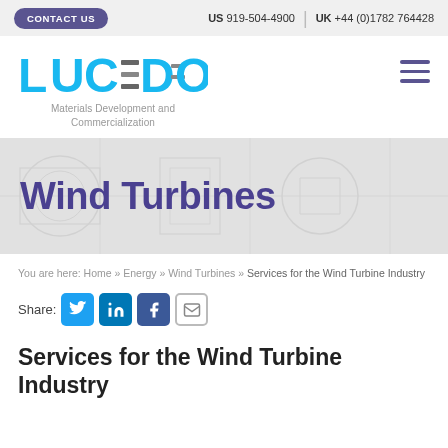CONTACT US | US 919-504-4900 | UK +44 (0)1782 764428
[Figure (logo): Lucideon logo with tagline 'Materials Development and Commercialization']
Wind Turbines
You are here: Home » Energy » Wind Turbines » Services for the Wind Turbine Industry
Share:
Services for the Wind Turbine Industry